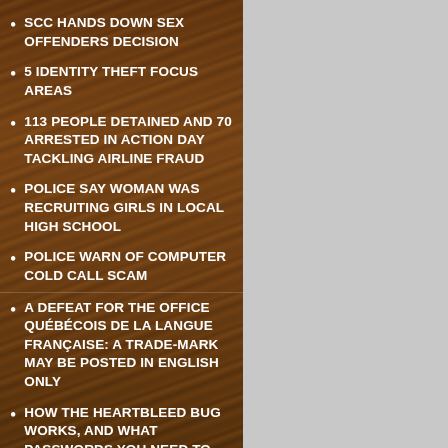SCC HANDS DOWN SEX OFFENDERS DECISION
5 IDENTITY THEFT FOCUS AREAS
113 PEOPLE DETAINED AND 70 ARRESTED IN ACTION DAY TACKLING AIRLINE FRAUD
POLICE SAY WOMAN WAS RECRUITING GIRLS IN LOCAL HIGH SCHOOL
POLICE WARN OF COMPUTER COLD CALL SCAM
A DEFEAT FOR THE OFFICE QUÉBÉCOIS DE LA LANGUE FRANÇAISE: A TRADE-MARK MAY BE POSTED IN ENGLISH ONLY
HOW THE HEARTBLEED BUG WORKS, AND WHAT PASSWORDS YOU NEED TO CHANGE
COUNTERFEIT $100 BILLS